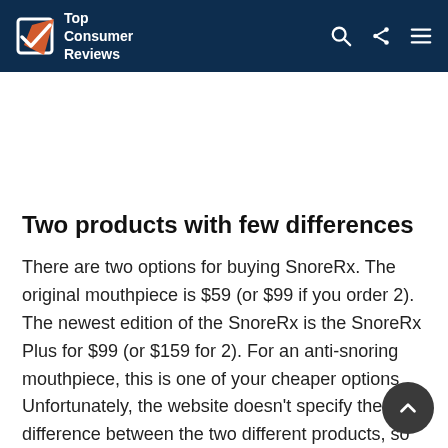Top Consumer Reviews
Two products with few differences
There are two options for buying SnoreRx. The original mouthpiece is $59 (or $99 if you order 2). The newest edition of the SnoreRx is the SnoreRx Plus for $99 (or $159 for 2). For an anti-snoring mouthpiece, this is one of your cheaper options. Unfortunately, the website doesn't specify the difference between the two different products, so it's hard to justify spending more when it appears to be